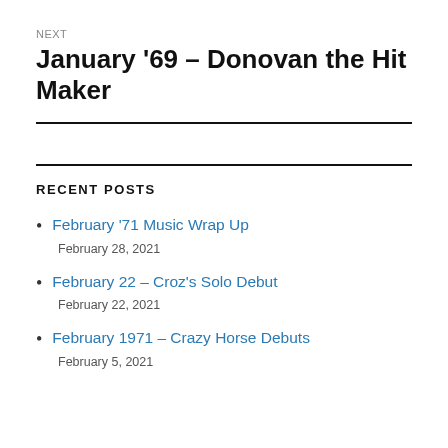NEXT
January ’69 – Donovan the Hit Maker
RECENT POSTS
February ’71 Music Wrap Up
February 28, 2021
February 22 – Croz’s Solo Debut
February 22, 2021
February 1971 – Crazy Horse Debuts
February 5, 2021